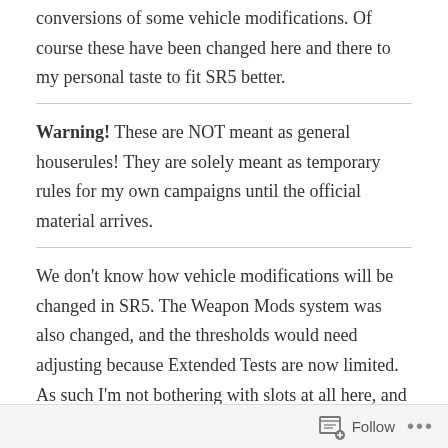Go to give Riggers options. I have made temporary conversions of some vehicle modifications. Of course these have been changed here and there to my personal taste to fit SR5 better.
Warning! These are NOT meant as general houserules! They are solely meant as temporary rules for my own campaigns until the official material arrives.
We don’t know how vehicle modifications will be changed in SR5. The Weapon Mods system was also changed, and the thresholds would need adjusting because Extended Tests are now limited. As such I’m not bothering with slots at all here, and simply applying gm fiat and generic
Follow •••